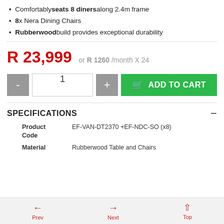Comfortably seats 8 diners along 2.4m frame
8 x Nera Dining Chairs
Rubberwood build provides exceptional durability
R 23,999 or R 1260 /month X 24
[Figure (other): Add to cart UI with quantity selector (minus, 1, plus) and green ADD TO CART button]
SPECIFICATIONS
| Attribute | Value |
| --- | --- |
| Product Code | EF-VAN-DT2370 +EF-NDC-SO (x8) |
| Material | Rubberwood Table and Chairs |
Prev   Next   Top